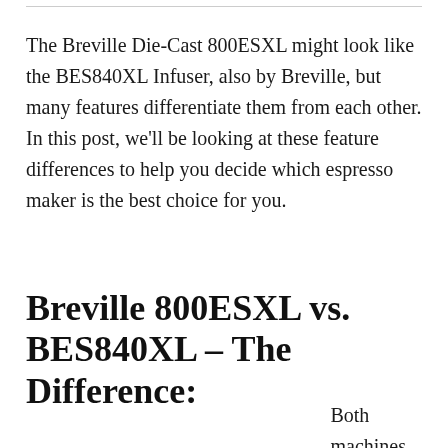The Breville Die-Cast 800ESXL might look like the BES840XL Infuser, also by Breville, but many features differentiate them from each other. In this post, we'll be looking at these feature differences to help you decide which espresso maker is the best choice for you.
Breville 800ESXL vs. BES840XL – The Difference:
Both machines